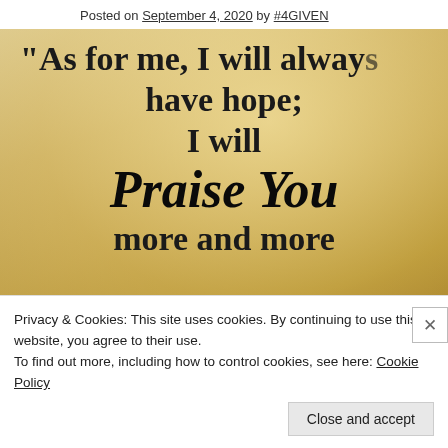Posted on September 4, 2020 by #4GIVEN
[Figure (illustration): Inspirational quote image with warm golden/sepia sky background. Text reads: "As for me, I will always have hope; I will Praise You more and more]
Privacy & Cookies: This site uses cookies. By continuing to use this website, you agree to their use.
To find out more, including how to control cookies, see here: Cookie Policy
Close and accept